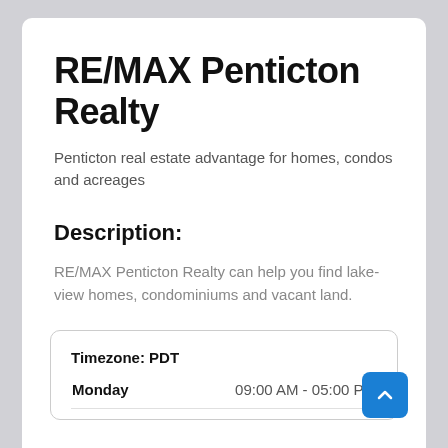RE/MAX Penticton Realty
Penticton real estate advantage for homes, condos and acreages
Description:
RE/MAX Penticton Realty can help you find lake-view homes, condominiums and vacant land.
|  |  |
| --- | --- |
| Timezone: PDT |  |
| Monday | 09:00 AM - 05:00 PM |